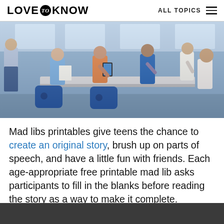LOVE to KNOW   ALL TOPICS
[Figure (photo): Classroom scene with teenagers sitting around a table, engaged in group discussion. Students holding papers and tablets. Blue chairs visible in the foreground. Teacher or adult standing at the left.]
Mad libs printables give teens the chance to create an original story, brush up on parts of speech, and have a little fun with friends. Each age-appropriate free printable mad lib asks participants to fill in the blanks before reading the story as a way to make it complete.